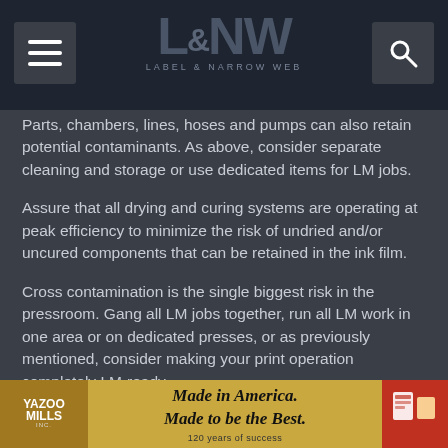L&NW Label & Narrow Web
Parts, chambers, lines, hoses and pumps can also retain potential contaminants. As above, consider separate cleaning and storage or use dedicated items for LM jobs.
Assure that all drying and curing systems are operating at peak efficiency to minimize the risk of undried and/or uncured components that can be retained in the ink film.
Cross contamination is the single biggest risk in the pressroom. Gang all LM jobs together, run all LM work in one area or on dedicated presses, or as previously mentioned, consider making your print operation completely LM-ready.
As a printer of low migration labels and packaging, the
[Figure (advertisement): Yazoo Mills Inc. advertisement banner: Made in America. Made to be the Best. 120 years of success.]